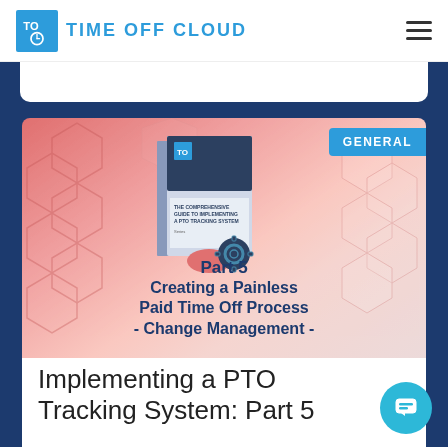Time Off Cloud
[Figure (screenshot): Article card with book cover image for 'Part 5 Creating a Painless Paid Time Off Process - Change Management -' on a pink/salmon geometric hexagon background with GENERAL badge]
Implementing a PTO Tracking System: Part 5